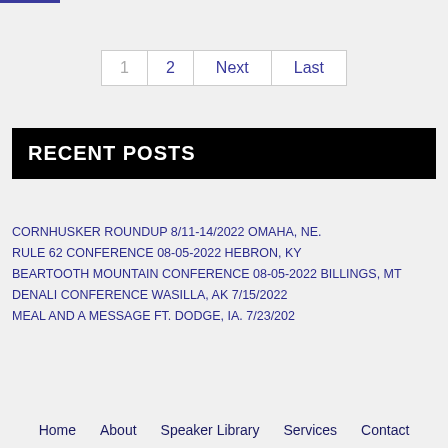[Figure (other): Blue underline bar at top left]
1  2  Next  Last
RECENT POSTS
CORNHUSKER ROUNDUP 8/11-14/2022 OMAHA, NE.
RULE 62 CONFERENCE 08-05-2022 HEBRON, KY
BEARTOOTH MOUNTAIN CONFERENCE 08-05-2022 BILLINGS, MT
DENALI CONFERENCE WASILLA, AK 7/15/2022
MEAL AND A MESSAGE FT. DODGE, IA. 7/23/202
Home  About  Speaker Library  Services  Contact